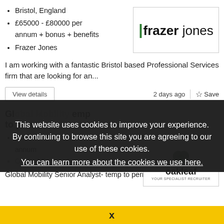Bristol, England
£65000 - £80000 per annum + bonus + benefits
Frazer Jones
[Figure (logo): Frazer Jones logo with green vertical bar and company name]
I am working with a fantastic Bristol based Professional Services firm that are looking for an...
View details
2 days ago
Save
Gl... emp to perm
£50000 - £600... per annum
Oakleaf Partnership...
[Figure (logo): Oakleaf logo with leaf icon and company name]
Global Mobility Senior Analyst- temp to permA leading
This website uses cookies to improve your experience. By continuing to browse this site you are agreeing to our use of these cookies.
You can learn more about the cookies we use here.
x